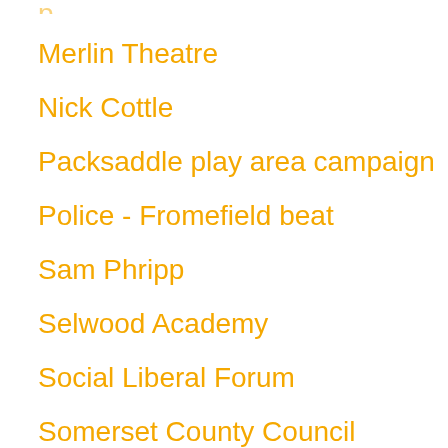Merlin Theatre
Nick Cottle
Packsaddle play area campaign
Police - Fromefield beat
Sam Phripp
Selwood Academy
Social Liberal Forum
Somerset County Council
Somerset Liberal Democrats
Somerset Waste Partnership